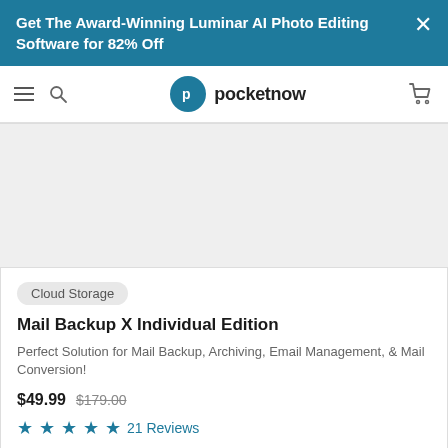Get The Award-Winning Luminar AI Photo Editing Software for 82% Off
[Figure (logo): Pocketnow website navigation bar with hamburger menu, search icon, Pocketnow logo, and cart icon]
[Figure (other): Product image placeholder area (light gray)]
Cloud Storage
Mail Backup X Individual Edition
Perfect Solution for Mail Backup, Archiving, Email Management, & Mail Conversion!
$49.99  $179.00
★★★★★  21 Reviews
[Figure (other): Bottom of next product card, partially visible, with bookmark icon]